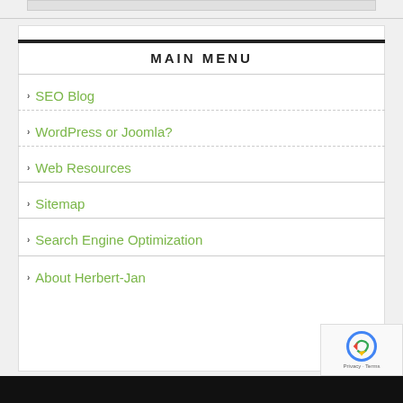MAIN MENU
SEO Blog
WordPress or Joomla?
Web Resources
Sitemap
Search Engine Optimization
About Herbert-Jan